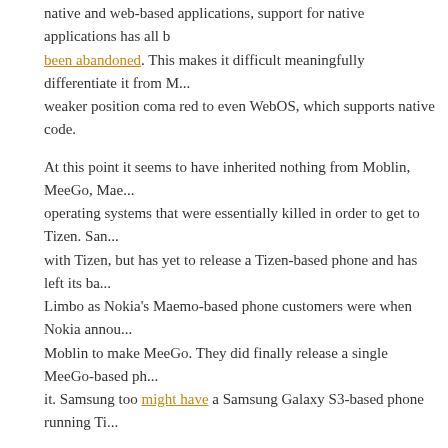native and web-based applications, support for native applications has all been abandoned. This makes it difficult meaningfully differentiate it from M... weaker position coma red to even WebOS, which supports native code.
At this point it seems to have inherited nothing from Moblin, MeeGo, Mae... operating systems that were essentially killed in order to get to Tizen. San... with Tizen, but has yet to release a Tizen-based phone and has left its ba... Limbo as Nokia's Maemo-based phone customers were when Nokia annou... Moblin to make MeeGo. They did finally release a single MeeGo-based ph... it. Samsung too might have a Samsung Galaxy S3-based phone running Ti...
Right now, despite development activity the future of Tizen seems uncert... web-based operating system just doesn't seem novel any more. Palm did i... it with Firefox OS. Both of those a relatively mature projects compared to T... probably be better off contributing to one of those.
Choice is always good, but Tizen is going to have a hard time ahead in s... new.
TOPICS: bada, Intel, maemo, meego, moblin, samsung, tize...